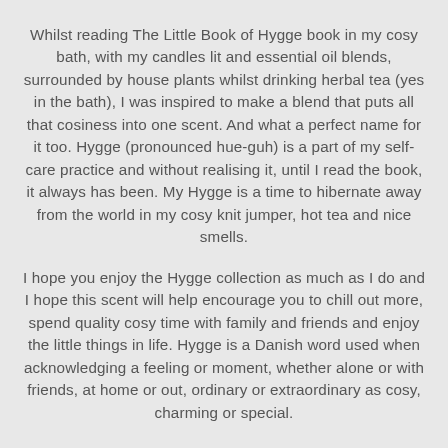Whilst reading The Little Book of Hygge book in my cosy bath, with my candles lit and essential oil blends, surrounded by house plants whilst drinking herbal tea (yes in the bath), I was inspired to make a blend that puts all that cosiness into one scent. And what a perfect name for it too. Hygge (pronounced hue-guh) is a part of my self-care practice and without realising it, until I read the book, it always has been. My Hygge is a time to hibernate away from the world in my cosy knit jumper, hot tea and nice smells.
I hope you enjoy the Hygge collection as much as I do and I hope this scent will help encourage you to chill out more, spend quality cosy time with family and friends and enjoy the little things in life. Hygge is a Danish word used when acknowledging a feeling or moment, whether alone or with friends, at home or out, ordinary or extraordinary as cosy, charming or special.